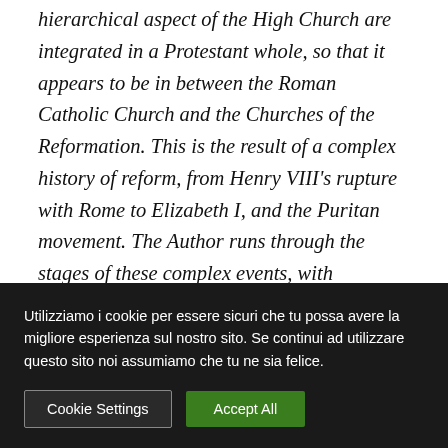hierarchical aspect of the High Church are integrated in a Protestant whole, so that it appears to be in between the Roman Catholic Church and the Churches of the Reformation. This is the result of a complex history of reform, from Henry VIII's rupture with Rome to Elizabeth I, and the Puritan movement. The Author runs through the stages of these complex events, with particular attention to the frequent lack of theological motivation in the various phases. This lack explains the successive
Utilizziamo i cookie per essere sicuri che tu possa avere la migliore esperienza sul nostro sito. Se continui ad utilizzare questo sito noi assumiamo che tu ne sia felice.